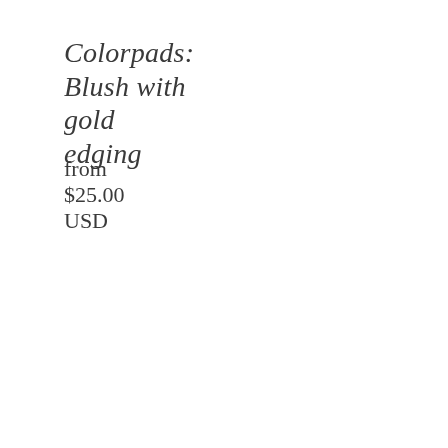Colorpads: Blush with gold edging
from $25.00 USD